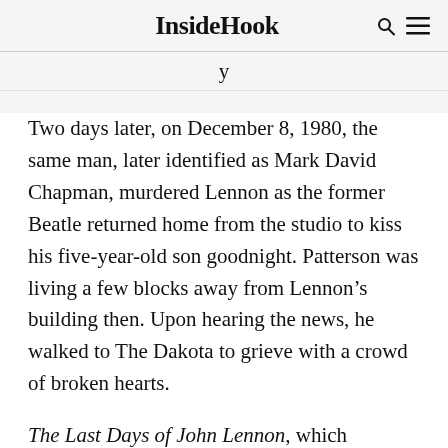InsideHook
y
Two days later, on December 8, 1980, the same man, later identified as Mark David Chapman, murdered Lennon as the former Beatle returned home from the studio to kiss his five-year-old son goodnight. Patterson was living a few blocks away from Lennon’s building then. Upon hearing the news, he walked to The Dakota to grieve with a crowd of broken hearts.
The Last Days of John Lennon, which Patterson